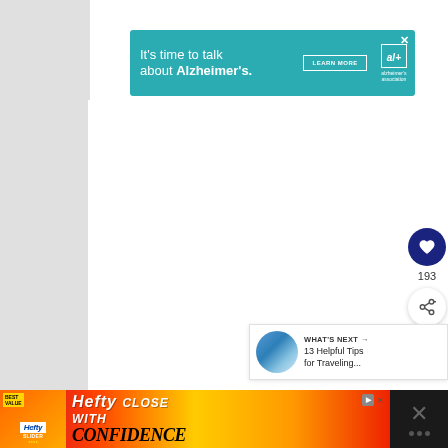[Figure (infographic): Teal/green Alzheimer's Association advertisement banner: 'It's time to talk about Alzheimer's.' with LEARN MORE button and Alzheimer's Association logo. Close X button in top right.]
[Figure (infographic): Heart/like button (dark navy circle with white heart icon), count '193', and share button (white circle with share icon) - vertical sidebar UI elements.]
193
[Figure (infographic): WHAT'S NEXT card showing thumbnail image of coastal scene and text '13 Helpful Tips for Traveling...']
[Figure (infographic): Hefty Slider Bags advertisement banner at bottom: 'Hefty CLOSE WITH CONFIDENCE' on colorful gradient background. Close buttons on right side.]